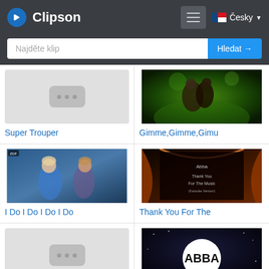Clipson
Najděte klip
Hledat →
[Figure (screenshot): Placeholder thumbnail with three dots for Super Trouper]
Super Trouper
[Figure (screenshot): Music video thumbnail for Gimme,Gimme,Gimme - couple image with green swirls]
Gimme,Gimme,Gimu
[Figure (screenshot): ABBA performance thumbnail - two women in blue for I Do I Do I Do I Do]
I Do I Do I Do I Do
[Figure (screenshot): Thank You For The Music Karaoke Version - stage curtain thumbnail]
Thank You For The
[Figure (screenshot): Placeholder thumbnail with three dots]
[Figure (screenshot): ABBA logo on dark starry background]